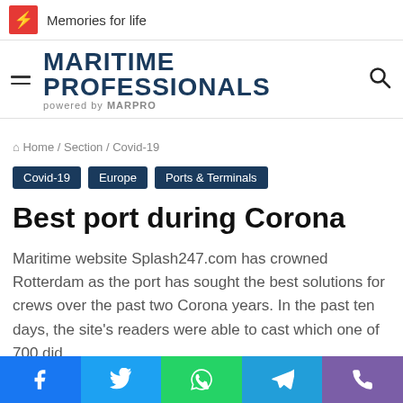Memories for life
MARITIME PROFESSIONALS powered by MARPRO
Home / Section / Covid-19
Covid-19
Europe
Ports & Terminals
Best port during Corona
Maritime website Splash247.com has crowned Rotterdam as the port has sought the best solutions for crews over the past two Corona years. In the past ten days, the site's readers were able to cast which one of 700 did...
Facebook | Twitter | WhatsApp | Telegram | Phone